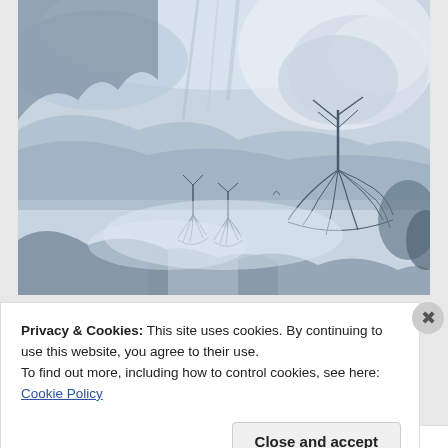[Figure (illustration): A blue-grey ink wash painting depicting a landscape with trees whose roots are visible, misty mountains and flowing water in the background, rendered in East Asian ink painting style.]
Privacy & Cookies: This site uses cookies. By continuing to use this website, you agree to their use.
To find out more, including how to control cookies, see here: Cookie Policy